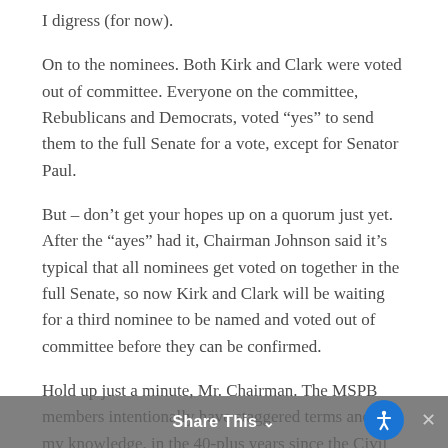I digress (for now).
On to the nominees. Both Kirk and Clark were voted out of committee. Everyone on the committee, Rebublicans and Democrats, voted “yes” to send them to the full Senate for a vote, except for Senator Paul.
But – don’t get your hopes up on a quorum just yet. After the “ayes” had it, Chairman Johnson said it’s typical that all nominees get voted on together in the full Senate, so now Kirk and Clark will be waiting for a third nominee to be named and voted out of committee before they can be confirmed.
Hold up just a minute, Mr. Chairman. The MSPB members intentionally have staggered terms and to my knowledge, in the 40-plus years since the Civil Service Reform Act created the current MSPB, we have NEVER had all three nominees confirmed together (except, maybe the very first members were
Share This